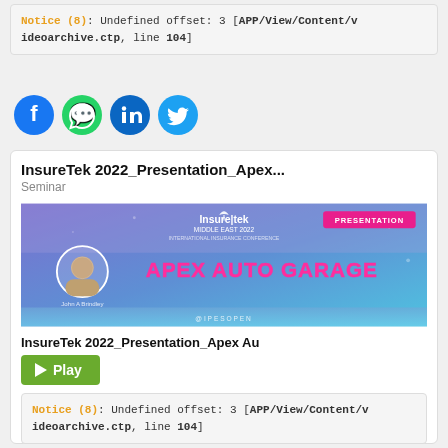Notice (8): Undefined offset: 3 [APP/View/Content/videoarchive.ctp, line 104]
[Figure (infographic): Row of four social media icons: Facebook (blue), WhatsApp (green), LinkedIn (blue), Twitter (light blue)]
InsureTek 2022_Presentation_Apex...
Seminar
[Figure (screenshot): InsureTek Middle East 2022 presentation slide thumbnail featuring 'APEX AUTO GARAGE' in pink text, with a circular headshot of John A Brindley on the left, blue/purple gradient background, and a pink 'PRESENTATION' badge in the top right corner.]
InsureTek 2022_Presentation_Apex Au
Play
Notice (8): Undefined offset: 3 [APP/View/Content/videoarchive.ctp, line 104]